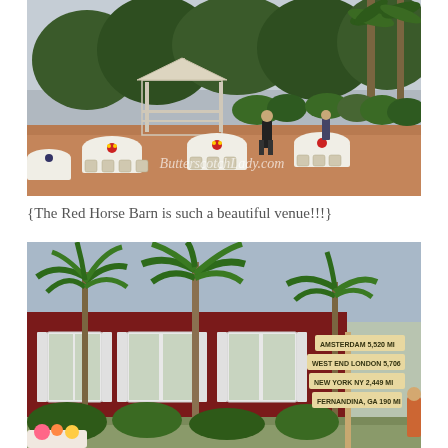[Figure (photo): Outdoor wedding/event venue setup at The Red Horse Barn. Round tables with white tablecloths and chairs arranged on a terracotta patio. A white gazebo is visible on the left surrounded by lush trees and palm trees. A person in dark clothing stands near the tables. Colorful floral centerpieces on each table. Watermark reads 'ButterscotchLady.com' in white script.]
{The Red Horse Barn is such a beautiful venue!!!}
[Figure (photo): Exterior of The Red Horse Barn, a dark red/maroon building with white-shuttered windows. Large tropical fern trees in front. On the right side, a wooden directional sign post with multiple signs pointing to different cities: 'AMSTERDAM 5,520 MI', 'WEST END LONDON 5,706', 'NEW YORK NY 2,449 MI', 'FERNANDINA, GA 190 MI'. Colorful items on a table in the foreground.]